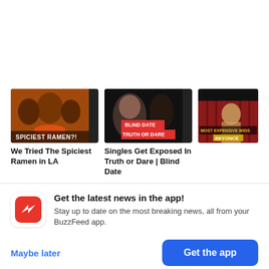[Figure (screenshot): BuzzFeed app screenshot showing three video thumbnails: 'We Tried The Spiciest Ramen in LA', 'Singles Get Exposed In Truth or Dare | Blind Date', and a Beyonce wigs video. Below is a promo banner to get the BuzzFeed app with 'Maybe later' and 'Get the app' buttons.]
We Tried The Spiciest Ramen in LA
Singles Get Exposed In Truth or Dare | Blind Date
Get the latest news in the app!
Stay up to date on the most breaking news, all from your BuzzFeed app.
Maybe later
Get the app